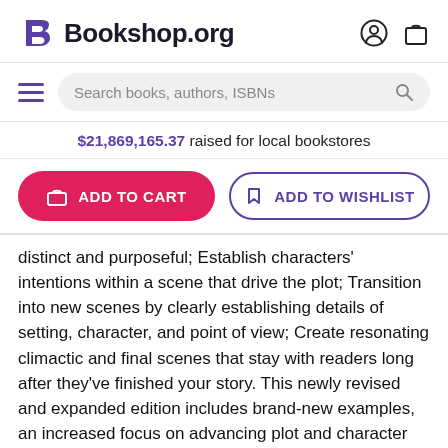Bookshop.org
Search books, authors, ISBNs
$21,869,165.37 raised for local bookstores
ADD TO CART
ADD TO WISHLIST
distinct and purposeful; Establish characters' intentions within a scene that drive the plot; Transition into new scenes by clearly establishing details of setting, character, and point of view; Create resonating climactic and final scenes that stay with readers long after they've finished your story. This newly revised and expanded edition includes brand-new examples, an increased focus on advancing plot and character development, making it an essential part of any personal, community, or academic library's Writing/Publishing instructional